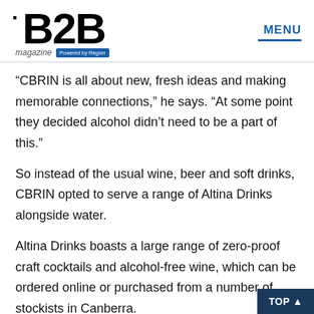B2B magazine Powered by Region — MENU
“CBRIN is all about new, fresh ideas and making memorable connections,” he says. “At some point they decided alcohol didn’t need to be a part of this.”
So instead of the usual wine, beer and soft drinks, CBRIN opted to serve a range of Altina Drinks alongside water.
Altina Drinks boasts a large range of zero-proof craft cocktails and alcohol-free wine, which can be ordered online or purchased from a number of stockists in Canberra.